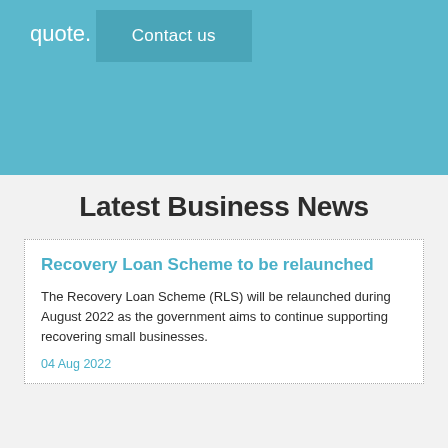quote.
Contact us
Latest Business News
Recovery Loan Scheme to be relaunched
The Recovery Loan Scheme (RLS) will be relaunched during August 2022 as the government aims to continue supporting recovering small businesses.
04 Aug 2022